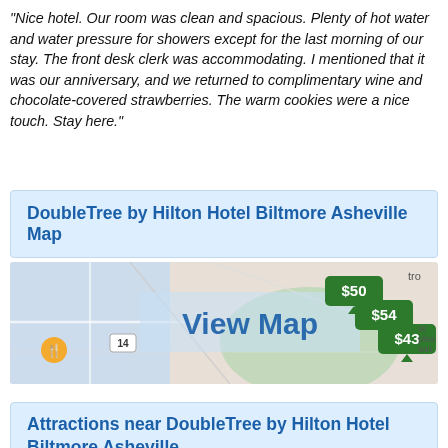"Nice hotel. Our room was clean and spacious. Plenty of hot water and water pressure for showers except for the last morning of our stay. The front desk clerk was accommodating. I mentioned that it was our anniversary, and we returned to complimentary wine and chocolate-covered strawberries. The warm cookies were a nice touch. Stay here."
DoubleTree by Hilton Hotel Biltmore Asheville Map
[Figure (map): Map showing View Map overlay with hotel price markers $50, $54, $43 on a street map of Asheville area]
Attractions near DoubleTree by Hilton Hotel Biltmore Asheville